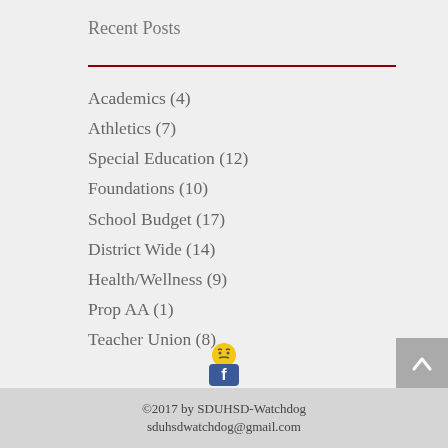Recent Posts
Academics (4)
Athletics (7)
Special Education (12)
Foundations (10)
School Budget (17)
District Wide (14)
Health/Wellness (9)
Prop AA (1)
Teacher Union (8)
©2017 by SDUHSD-Watchdog
sduhsdwatchdog@gmail.com